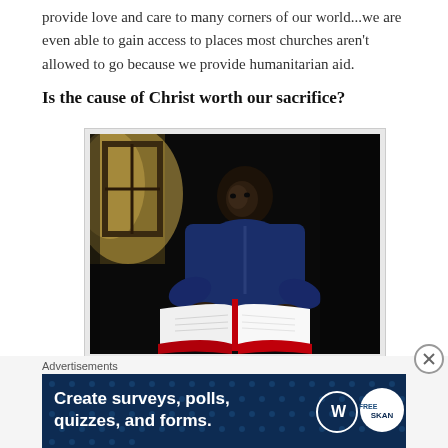provide love and care to many corners of our world...we are even able to gain access to places most churches aren't allowed to go because we provide humanitarian aid.
Is the cause of Christ worth our sacrifice?
[Figure (photo): A person in a blue shirt sitting in a dark room reading an open book (Bible), with light streaming in from a window on the left side.]
Advertisements
[Figure (infographic): Advertisement banner for WordPress survey tool: 'Create surveys, polls, quizzes, and forms.' with WordPress and SurveyMonkey logos on dark blue background with dot pattern.]